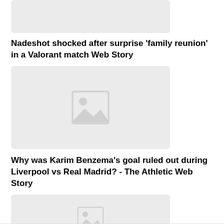[Figure (photo): Placeholder image thumbnail at top of page (partially visible)]
Nadeshot shocked after surprise &#039;family reunion&#039; in a Valorant match Web Story
[Figure (photo): Placeholder image with mountain/landscape icon for Valorant story]
Why was Karim Benzema&#x27;s goal ruled out during Liverpool vs Real Madrid? - The Athletic Web Story
[Figure (photo): Placeholder image thumbnail at bottom (partially visible)]